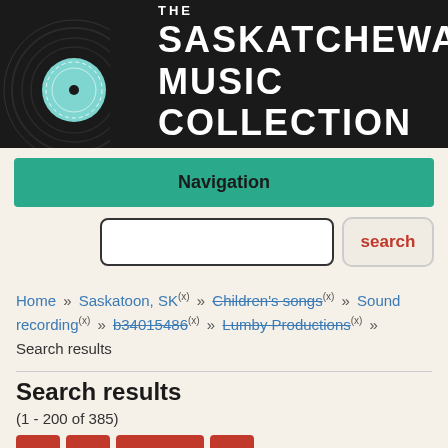[Figure (logo): The Saskatchewan Music Collection logo: black banner with vinyl record graphic on the left and white bold text reading 'THE SASKATCHEWAN MUSIC COLLECTION']
Navigation
search (button)
Home » Saskatoon, SK (x) » Children's songs (x) » Sound recording (x) » b34015486 (x) » Lumby Productions (x) » Search results
Search results
(1 - 200 of 385)